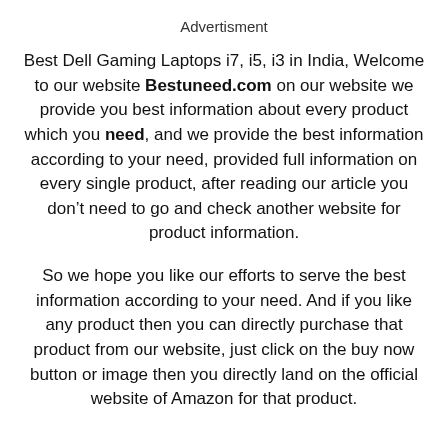Advertisment
Best Dell Gaming Laptops i7, i5, i3 in India, Welcome to our website Bestuneed.com on our website we provide you best information about every product which you need, and we provide the best information according to your need, provided full information on every single product, after reading our article you don’t need to go and check another website for product information.
So we hope you like our efforts to serve the best information according to your need. And if you like any product then you can directly purchase that product from our website, just click on the buy now button or image then you directly land on the official website of Amazon for that product.